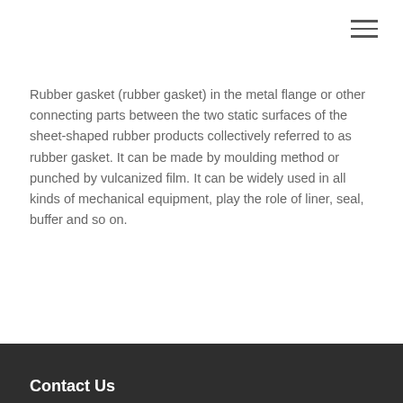Rubber gasket (rubber gasket) in the metal flange or other connecting parts between the two static surfaces of the sheet-shaped rubber products collectively referred to as rubber gasket. It can be made by moulding method or punched by vulcanized film. It can be widely used in all kinds of mechanical equipment, play the role of liner, seal, buffer and so on.
Contact Us